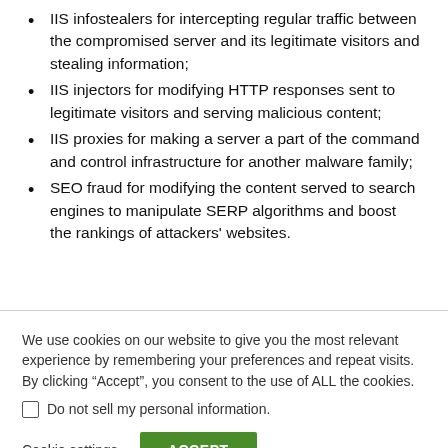IIS infostealers for intercepting regular traffic between the compromised server and its legitimate visitors and stealing information;
IIS injectors for modifying HTTP responses sent to legitimate visitors and serving malicious content;
IIS proxies for making a server a part of the command and control infrastructure for another malware family;
SEO fraud for modifying the content served to search engines to manipulate SERP algorithms and boost the rankings of attackers' websites.
We use cookies on our website to give you the most relevant experience by remembering your preferences and repeat visits. By clicking “Accept”, you consent to the use of ALL the cookies.
Do not sell my personal information.
Cookie settings  ACCEPT